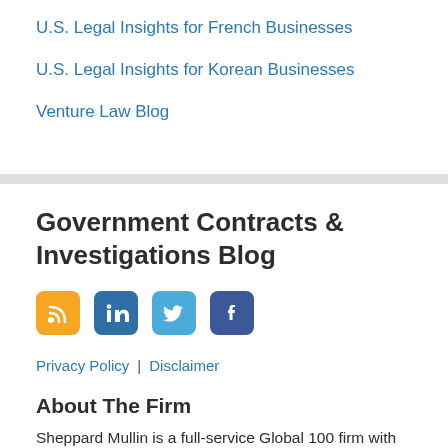U.S. Legal Insights for French Businesses
U.S. Legal Insights for Korean Businesses
Venture Law Blog
Government Contracts & Investigations Blog
[Figure (infographic): Social media icons: RSS (orange), LinkedIn (blue), Twitter (light blue), Facebook (dark blue)]
Privacy Policy | Disclaimer
About The Firm
Sheppard Mullin is a full-service Global 100 firm with more than 1000 attorneys in 16 offices located in the